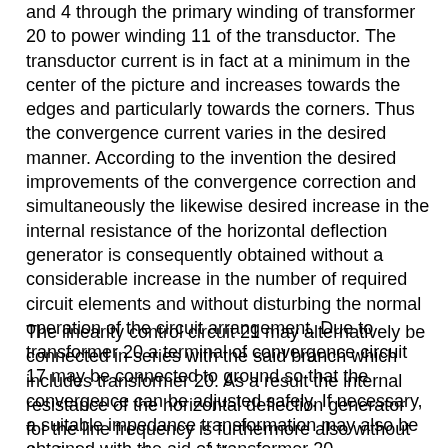and 4 through the primary winding of transformer 20 to power winding 11 of the transductor. The transductor current is in fact at a minimum in the center of the picture and increases towards the edges and particularly towards the corners. Thus the convergence current varies in the desired manner. According to the invention the desired improvements of the convergence correction and simultaneously the likewise desired increase in the internal resistance of the horizontal deflection generator is consequently obtained without a considerable increase in the number of required circuit elements and without disturbing the normal operation of the circuit arrangement. Due to transformer 20 a terminal of convergence circuit 17 may be connected to ground so that the convergence can be adjusted safely. If necessary, a suitable impedance transformation may also be obtained with the aid of transformer 20.
The linearity control circuit 21 may alternatively be connected in series with the said branch which includes transformer 20. As a result the internal resistance of the horizontal deflection generator for the line frequency is furthermore also without the field operations and the